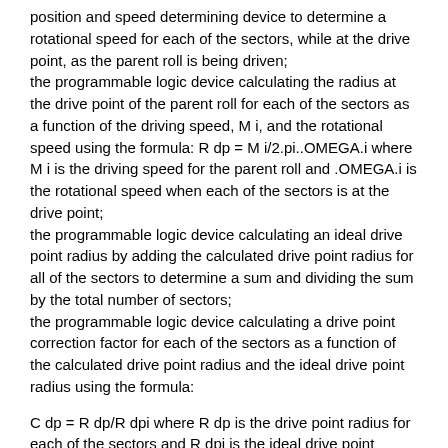position and speed determining device to determine a rotational speed for each of the sectors, while at the drive point, as the parent roll is being driven;
the programmable logic device calculating the radius at the drive point of the parent roll for each of the sectors as a function of the driving speed, M i, and the rotational speed using the formula: R dp = M i/2.pi..OMEGA.i where M i is the driving speed for the parent roll and .OMEGA.i is the rotational speed when each of the sectors is at the drive point;
the programmable logic device calculating an ideal drive point radius by adding the calculated drive point radius for all of the sectors to determine a sum and dividing the sum by the total number of sectors;
the programmable logic device calculating a drive point correction factor for each of the sectors as a function of the calculated drive point radius and the ideal drive point radius using the formula:
C dp = R dp/R dpi where R dp is the drive point radius for each of the sectors and R dpi is the ideal drive point radius;
the measuring device measuring the radius at or near the web takeoff point of the parent roll for each of the sectors as the parent roll is being driven at the drive point;